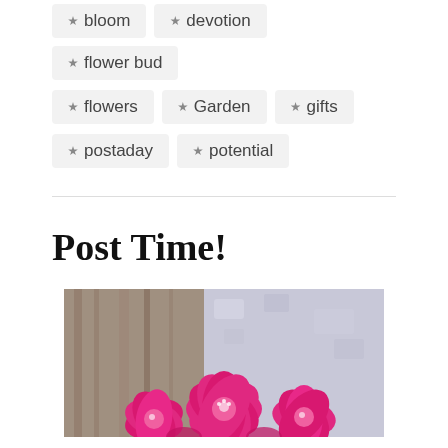# bloom  # devotion  # flower bud
# flowers  # Garden  # gifts
# postaday  # potential
Post Time!
[Figure (photo): Pink flowers (magnolia or similar) blooming against a stone/bark background]